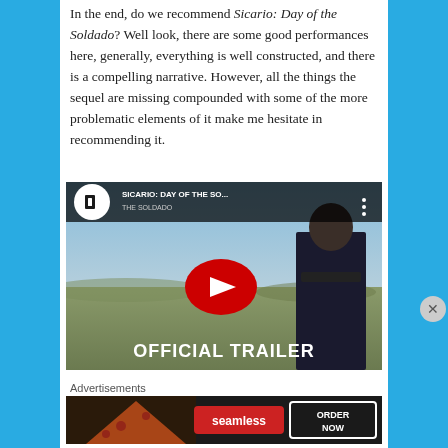In the end, do we recommend Sicario: Day of the Soldado? Well look, there are some good performances here, generally, everything is well constructed, and there is a compelling narrative. However, all the things the sequel are missing compounded with some of the more problematic elements of it make me hesitate in recommending it.
[Figure (screenshot): YouTube embedded video player showing official trailer for Sicario: Day of the Soldado. Features Sony Pictures logo, video title 'SICARIO: DAY OF THE SO...' with three-dot menu, a landscape/desert scene with a figure in tactical gear, a large red YouTube play button in the center, and 'OFFICIAL TRAILER' text at the bottom.]
Advertisements
[Figure (screenshot): Seamless food delivery advertisement banner showing pizza slices on the left, 'seamless' logo in red center, and 'ORDER NOW' button on the right with dark background.]